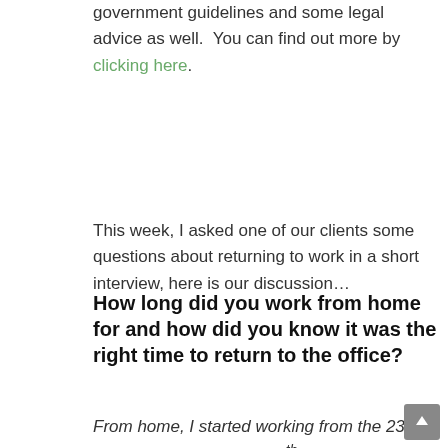government guidelines and some legal advice as well.  You can find out more by clicking here.
This week, I asked one of our clients some questions about returning to work in a short interview, here is our discussion…
How long did you work from home for and how did you know it was the right time to return to the office?
From home, I started working from the 23rd March until around the 30th May. It